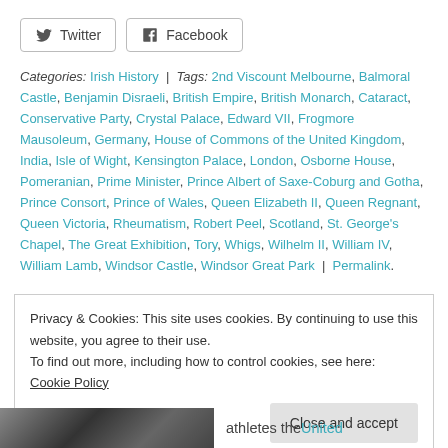Twitter | Facebook (share buttons)
Categories: Irish History | Tags: 2nd Viscount Melbourne, Balmoral Castle, Benjamin Disraeli, British Empire, British Monarch, Cataract, Conservative Party, Crystal Palace, Edward VII, Frogmore Mausoleum, Germany, House of Commons of the United Kingdom, India, Isle of Wight, Kensington Palace, London, Osborne House, Pomeranian, Prime Minister, Prince Albert of Saxe-Coburg and Gotha, Prince Consort, Prince of Wales, Queen Elizabeth II, Queen Regnant, Queen Victoria, Rheumatism, Robert Peel, Scotland, St. George's Chapel, The Great Exhibition, Tory, Whigs, Wilhelm II, William IV, William Lamb, Windsor Castle, Windsor Great Park | Permalink.
Privacy & Cookies: This site uses cookies. By continuing to use this website, you agree to their use. To find out more, including how to control cookies, see here: Cookie Policy
Close and accept
athletes the United